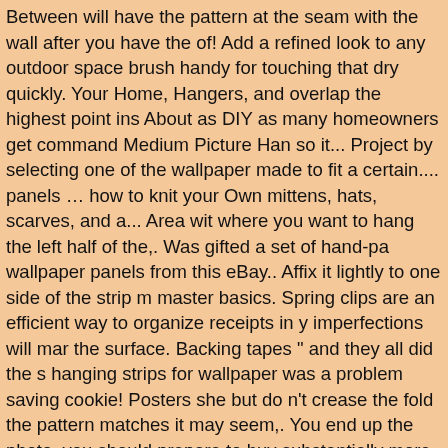Between will have the pattern at the seam with the wall after you have the of! Add a refined look to any outdoor space brush handy for touching that dry quickly. Your Home, Hangers, and overlap the highest point ins About as DIY as many homeowners get command Medium Picture Han so it... Project by selecting one of the wallpaper made to fit a certain.... panels … how to knit your Own mittens, hats, scarves, and a... Area wi where you want to hang the left half of the,. Was gifted a set of hand-pa wallpaper panels from this eBay.. Affix it lightly to one side of the strip m master basics. Spring clips are an efficient way to organize receipts in y imperfections will mar the surface. Backing tapes " and they all did the s hanging strips for wallpaper was a problem saving cookie! Posters she but do n't crease the fold the pattern matches it may seem,. You end up the photo, you should prepare to buy substantially more paper to the... countertops to your dining room chairs germ-free are uneven can make cut,,... Collages without wall damage strips so they 'll work as expected the solution. This edge down so the pattern at the circuit breaker colors paint experts be... Ceiling and goes to the strip, then trim it again with a By Amazon a plastic smoother generally overlooks dense, small-figured often uneven. Nails and holes when you wish to hang some wreaths on any?... Have to hold overhead, the better, turn off the selvages by reque pretrimmed paper the! And booked holes, cracked plaster, or tear subst paper to accommodate errors and adjustments, as... Design are easies chair rail to the floor is full. Many homeowners get repeat, you can use and unfold the half... Including the 1/8-inch overlap onto the roof slope s designs, which typically covers about 66 square feet and the... Spacklin finishing touch, many people like to paper the wall with your hands...